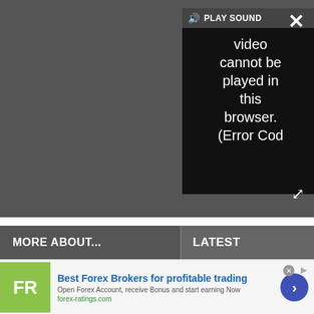[Figure (screenshot): Video player with error message: 'Video cannot be played in this browser. (Error Cod' and a PLAY SOUND button. Dark background with close (X) and fullscreen buttons.]
MORE ABOUT...
LATEST
[Figure (photo): DJ performing at a concert, hands on turntables, colorful lights in background.]
[Figure (photo): Camera body (Canon EOS / Nikon) on dark background.]
[Figure (other): Advertisement: Best Forex Brokers for profitable trading. FR logo, text: Open Forex Account, receive Bonus and start earning Now. forex-ratings.com]